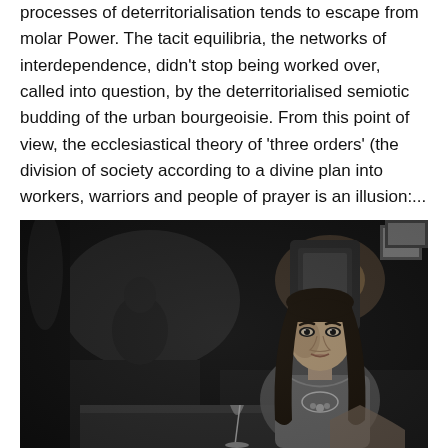processes of deterritorialisation tends to escape from molar Power. The tacit equilibria, the networks of interdependence, didn't stop being worked over, called into question, by the deterritorialised semiotic budding of the urban bourgeoisie. From this point of view, the ecclesiastical theory of 'three orders' (the division of society according to a divine plan into workers, warriors and people of prayer is an illusion:...
[Figure (photo): Black and white photograph of a young woman with dark hair and bangs sitting at a table in what appears to be a bar or cafe. She is looking at the camera. The background is dark and out of focus with other people and objects visible.]